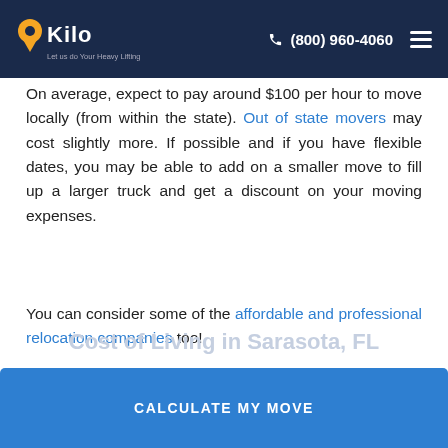Kilo Moving - (800) 960-4060
On average, expect to pay around $100 per hour to move locally (from within the state). Out of state movers may cost slightly more. If possible and if you have flexible dates, you may be able to add on a smaller move to fill up a larger truck and get a discount on your moving expenses.
You can consider some of the affordable and professional relocation companies too!
[Figure (other): Blue 'CALCULATE MY MOVE' call-to-action button]
Cost of Living in Sarasota, FL
[Figure (other): Blue sticky bottom bar 'CALCULATE MY MOVE' button]